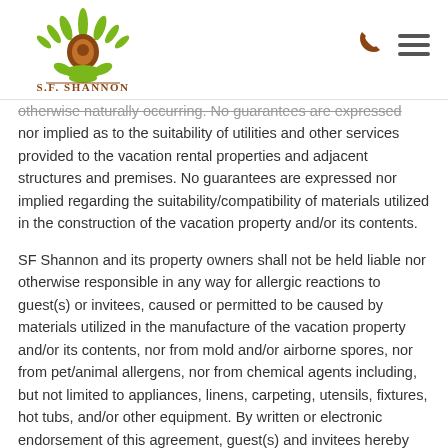S.F. Shannon
otherwise naturally occurring. No guarantees are expressed nor implied as to the suitability of utilities and other services provided to the vacation rental properties and adjacent structures and premises. No guarantees are expressed nor implied regarding the suitability/compatibility of materials utilized in the construction of the vacation property and/or its contents.
SF Shannon and its property owners shall not be held liable nor otherwise responsible in any way for allergic reactions to guest(s) or invitees, caused or permitted to be caused by materials utilized in the manufacture of the vacation property and/or its contents, nor from mold and/or airborne spores, nor from pet/animal allergens, nor from chemical agents including, but not limited to appliances, linens, carpeting, utensils, fixtures, hot tubs, and/or other equipment. By written or electronic endorsement of this agreement, guest(s) and invitees hereby agree to forever